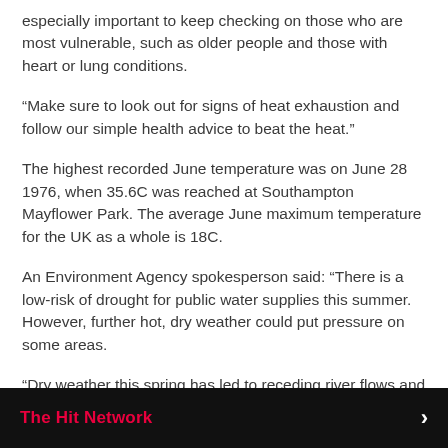especially important to keep checking on those who are most vulnerable, such as older people and those with heart or lung conditions.
“Make sure to look out for signs of heat exhaustion and follow our simple health advice to beat the heat.”
The highest recorded June temperature was on June 28 1976, when 35.6C was reached at Southampton Mayflower Park. The average June maximum temperature for the UK as a whole is 18C.
An Environment Agency spokesperson said: “There is a low-risk of drought for public water supplies this summer. However, further hot, dry weather could put pressure on some areas.
“Dry weather this spring has led to receding river flows and reservoir levels across central and south western England in
The Hit Network